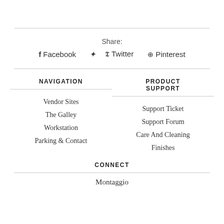Share:
Facebook
Twitter
Pinterest
NAVIGATION
Vendor Sites
The Galley
Workstation
Parking & Contact
PRODUCT SUPPORT
Support Ticket
Support Forum
Care And Cleaning
Finishes
CONNECT
Montaggio